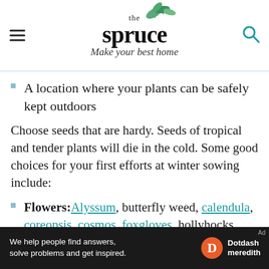the spruce — Make your best home
A location where your plants can be safely kept outdoors
Choose seeds that are hardy. Seeds of tropical and tender plants will die in the cold. Some good choices for your first efforts at winter sowing include:
Flowers: Alyssum, butterfly weed, calendula, coreopsis, cosmos, foxgloves, hollyhocks, petunia
Vegetables: Beets, broccoli, cabbage, chard...
[Figure (other): Dotdash Meredith advertisement bar: 'We help people find answers, solve problems and get inspired.']